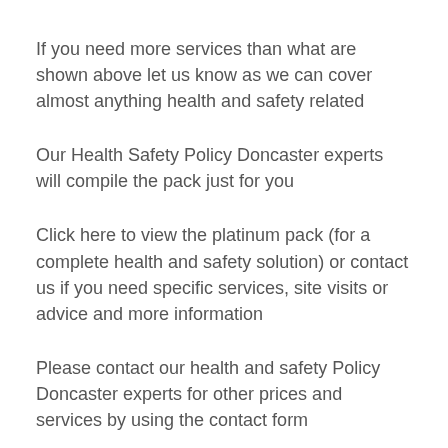If you need more services than what are shown above let us know as we can cover almost anything health and safety related
Our Health Safety Policy Doncaster experts will compile the pack just for you
Click here to view the platinum pack (for a complete health and safety solution) or contact us if you need specific services, site visits or advice and more information
Please contact our health and safety Policy Doncaster experts for other prices and services by using the contact form